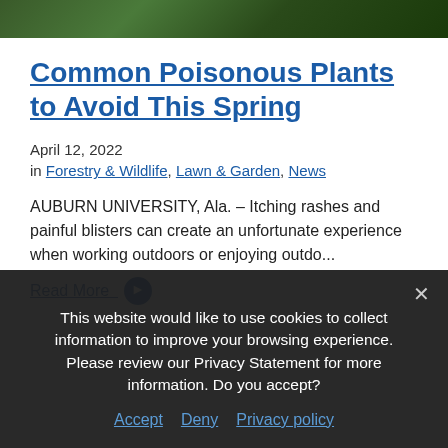[Figure (photo): A dark green outdoor/forest background photo strip at the top of the page showing leaves and foliage.]
Common Poisonous Plants to Avoid This Spring
April 12, 2022
in Forestry & Wildlife, Lawn & Garden, News
AUBURN UNIVERSITY, Ala. – Itching rashes and painful blisters can create an unfortunate experience when working outdoors or enjoying outdo...
Read More →
This website would like to use cookies to collect information to improve your browsing experience. Please review our Privacy Statement for more information. Do you accept?
Accept  Deny  Privacy policy